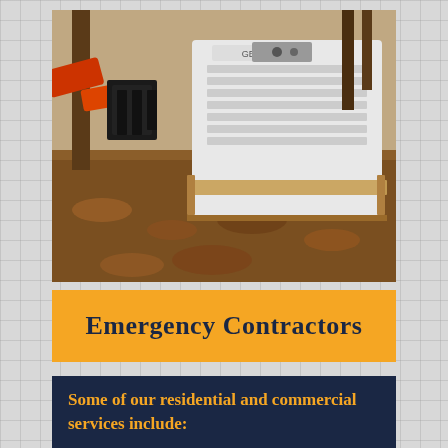[Figure (photo): Outdoor scene showing a red/orange excavator arm and black attachment next to a white Generac generator unit in a wooden crate, set on leaf-covered ground with trees in background.]
Emergency Contractors
Some of our residential and commercial services include: